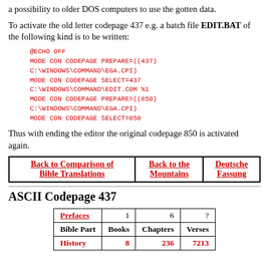a possibility to older DOS computers to use the gotten data.
To activate the old letter codepage 437 e.g. a batch file EDIT.BAT of the following kind is to be written:
@ECHO OFF
MODE CON CODEPAGE PREPARE=((437)
C:\WINDOWS\COMMAND\EGA.CPI)
MODE CON CODEPAGE SELECT=437
C:\WINDOWS\COMMAND\EDIT.COM %1
MODE CON CODEPAGE PREPARE=((850)
C:\WINDOWS\COMMAND\EGA.CPI)
MODE CON CODEPAGE SELECT=850
Thus with ending the editor the original codepage 850 is activated again.
| Back to Comparison of Bible Translations | Back to the Mountains | Deutsche Fassung |
| --- | --- | --- |
ASCII Codepage 437
|  | Books | Chapters | Verses |
| --- | --- | --- | --- |
| Prefaces | 1 | 6 | ? |
| Bible Part | Books | Chapters | Verses |
| History | 8 | 236 | 7213 |